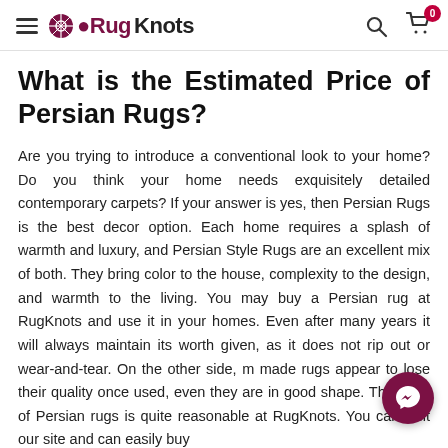RugKnots — navigation header with hamburger menu, logo, search icon, and cart (0 items)
What is the Estimated Price of Persian Rugs?
Are you trying to introduce a conventional look to your home? Do you think your home needs exquisitely detailed contemporary carpets? If your answer is yes, then Persian Rugs is the best decor option. Each home requires a splash of warmth and luxury, and Persian Style Rugs are an excellent mix of both. They bring color to the house, complexity to the design, and warmth to the living. You may buy a Persian rug at RugKnots and use it in your homes. Even after many years it will always maintain its worth given, as it does not rip out or wear-and-tear. On the other side, m made rugs appear to lose their quality once used, even they are in good shape. The price of Persian rugs is quite reasonable at RugKnots. You can visit our site and can easily buy